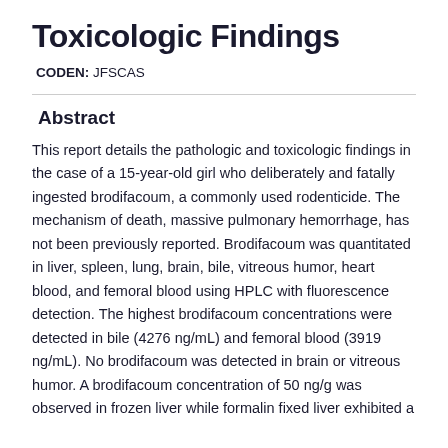Toxicologic Findings
CODEN: JFSCAS
Abstract
This report details the pathologic and toxicologic findings in the case of a 15-year-old girl who deliberately and fatally ingested brodifacoum, a commonly used rodenticide. The mechanism of death, massive pulmonary hemorrhage, has not been previously reported. Brodifacoum was quantitated in liver, spleen, lung, brain, bile, vitreous humor, heart blood, and femoral blood using HPLC with fluorescence detection. The highest brodifacoum concentrations were detected in bile (4276 ng/mL) and femoral blood (3919 ng/mL). No brodifacoum was detected in brain or vitreous humor. A brodifacoum concentration of 50 ng/g was observed in frozen liver while formalin fixed liver exhibited a